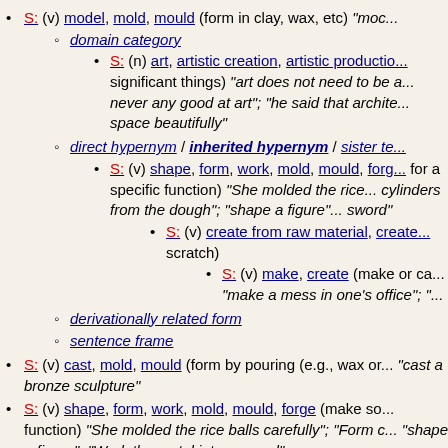S: (v) model, mold, mould (form in clay, wax, etc) "moc..."
domain category
S: (n) art, artistic creation, artistic productio... significant things) "art does not need to be a... never any good at art"; "he said that archite... space beautifully"
direct hypernym / inherited hypernym / sister te...
S: (v) shape, form, work, mold, mould, forg... for a specific function) "She molded the rice... cylinders from the dough"; "shape a figure"... sword"
S: (v) create from raw material, create... scratch)
S: (v) make, create (make or ca... "make a mess in one's office"; "..."
derivationally related form
sentence frame
S: (v) cast, mold, mould (form by pouring (e.g., wax or... "cast a bronze sculpture"
S: (v) shape, form, work, mold, mould, forge (make so... function) "She molded the rice balls carefully"; "Form c... "shape a figure"; "Work the metal into a sword"